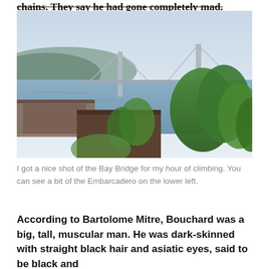chains. They say he had gone completely mad.
[Figure (photo): Photograph of the Bay Bridge viewed from a hilltop, with the San Francisco Bay and green trees in the foreground, and the Embarcadero visible in the lower left.]
I got a nice shot of the Bay Bridge for my hour of climbing. You can see a bit of the Embarcadero on the lower left.
According to Bartolome Mitre, Bouchard was a big, tall, muscular man. He was dark-skinned with straight black hair and asiatic eyes, said to be black and